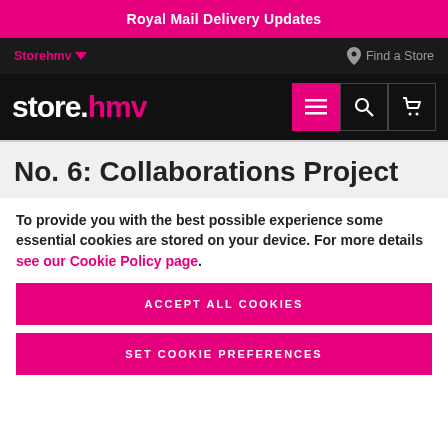Royal Mail Delivery Updates
Storehmv  Find a Store
store.hmv
No. 6: Collaborations Project
To provide you with the best possible experience some essential cookies are stored on your device. For more details see our Cookie Policy page.
ACCEPT ALL COOKIES
SET COOKIE PREFERENCES